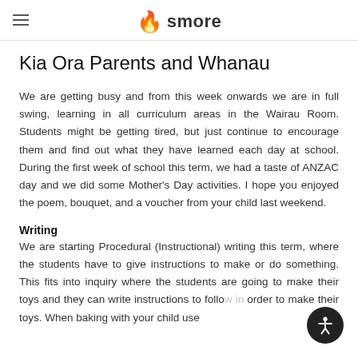smore
Kia Ora Parents and Whanau
We are getting busy and from this week onwards we are in full swing, learning in all curriculum areas in the Wairau Room. Students might be getting tired, but just continue to encourage them and find out what they have learned each day at school. During the first week of school this term, we had a taste of ANZAC day and we did some Mother's Day activities. I hope you enjoyed the poem, bouquet, and a voucher from your child last weekend.
Writing
We are starting Procedural (Instructional) writing this term, where the students have to give instructions to make or do something. This fits into inquiry where the students are going to make their toys and they can write instructions to follow in order to make their toys. When baking with your child use